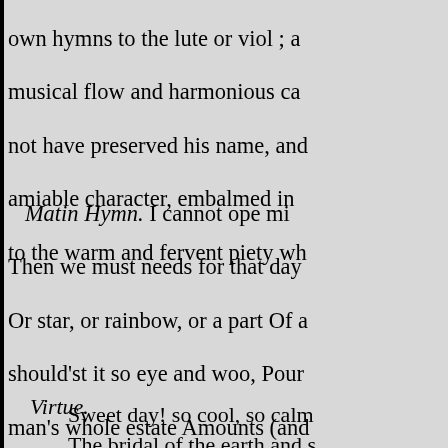own hymns to the lute or viol ; a musical flow and harmonious ca not have preserved his name, and amiable character, embalmed in to the warm and fervent piety wh
Matin Hymn. I cannot ope mi Then we must needs for that day Or star, or rainbow, or a part Of a should'st it so eye and woo, Pour man's whole estate Amounts (and them, not him by whom they be. the work and workman show; Th
Virtue.
Sweet day! so cool, so calm The bridal of the earth and s The dews shall weep thy fa
For thou must die. Sweet rose ! whose hue, an Bids the rash gazer wipe his Thy root is ever in its grave
And thou must die. Sweet spr